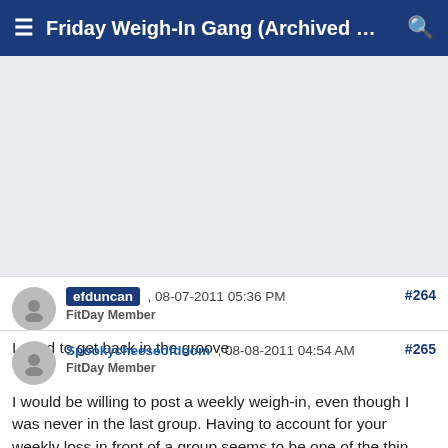Friday Weigh-In Gang (Archived …
[Figure (other): Advertisement/banner area (gray placeholder)]
efduncan , 08-07-2011 05:36 PM
FitDay Member
I need to get back in the groove.
#264
Spookycheeseofdoom , 08-08-2011 04:54 AM
FitDay Member
I would be willing to post a weekly weigh-in, even though I was never in the last group. Having to account for your weekly loss in front of a group seems to be one of the thin…
#265